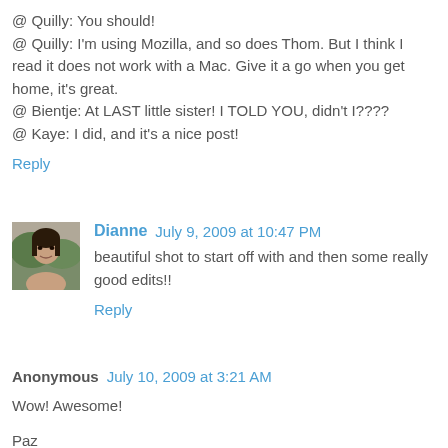@ Quilly: You should!
@ Quilly: I'm using Mozilla, and so does Thom. But I think I read it does not work with a Mac. Give it a go when you get home, it's great.
@ Bientje: At LAST little sister! I TOLD YOU, didn't I????
@ Kaye: I did, and it's a nice post!
Reply
[Figure (photo): Small avatar photo of Dianne, a woman with dark hair]
Dianne  July 9, 2009 at 10:47 PM
beautiful shot to start off with and then some really good edits!!
Reply
Anonymous  July 10, 2009 at 3:21 AM
Wow! Awesome!
Paz
Reply